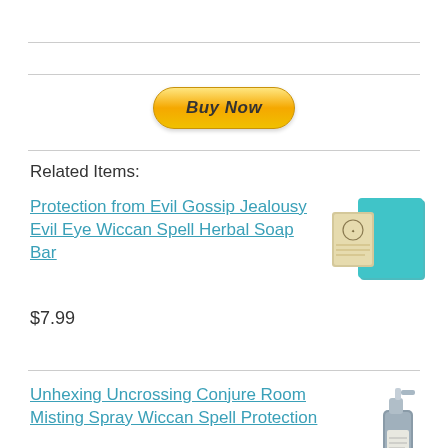[Figure (other): PayPal Buy Now button - yellow/gold rounded rectangle button with bold italic text 'Buy Now']
Related Items:
Protection from Evil Gossip Jealousy Evil Eye Wiccan Spell Herbal Soap Bar
[Figure (photo): Product image of teal/turquoise herbal soap bar with a labeled tag/wrapper]
$7.99
Unhexing Uncrossing Conjure Room Misting Spray Wiccan Spell Protection
[Figure (photo): Product image of a small spray bottle with dark liquid]
$9.99